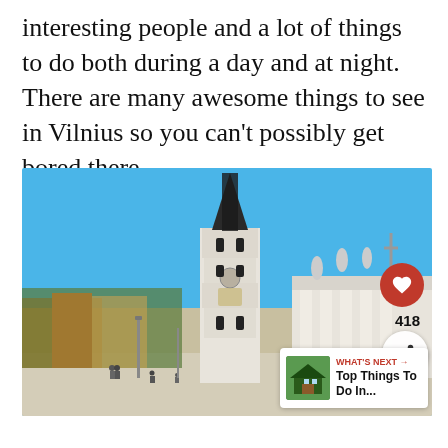interesting people and a lot of things to do both during a day and at night. There are many awesome things to see in Vilnius so you can't possibly get bored there.
[Figure (photo): Photograph of Vilnius Cathedral Square with the Cathedral Bell Tower (white tower with dark spire) on the left and the neoclassical Cathedral of St Stanislaus on the right under a bright blue sky, with people walking in the square. Overlaid UI elements show a heart button with count 418, a share button, and a 'What's Next' thumbnail linking to 'Top Things To Do In...']
...